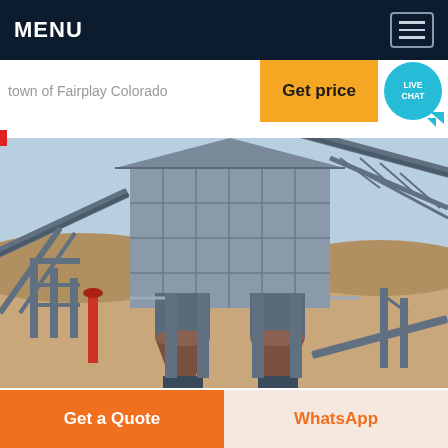MENU
town of Fairplay Colorado
Get price
LIVE CHAT
[Figure (photo): Industrial mining or aggregate processing plant with large gray metal building structure, conveyor belts, and cone crushers, photographed outdoors under a blue sky]
Get a Quote
WhatsApp